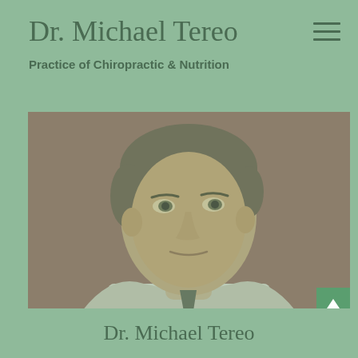Dr. Michael Tereo
Practice of Chiropractic & Nutrition
[Figure (photo): Portrait photo of Dr. Michael Tereo, a middle-aged man with brown hair wearing a white shirt, photographed against a reddish-brown background with a green overlay tint]
Dr. Michael Tereo